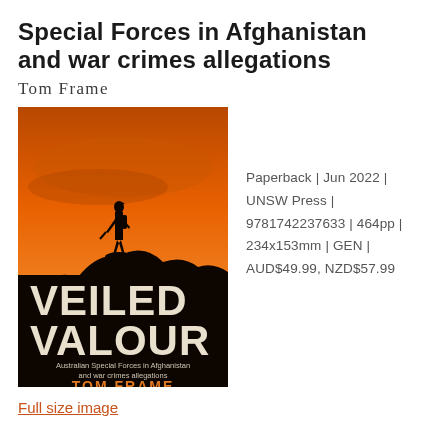Special Forces in Afghanistan and war crimes allegations
Tom Frame
[Figure (illustration): Book cover of 'Veiled Valour' by Tom Frame. Orange and dark sky background with silhouette of a soldier standing on a rocky hill. Large bold text reads 'VEILED VALOUR', subtitle 'Australian Special Forces in Afghanistan and war crimes allegations', author 'TOM FRAME' in orange.]
Paperback | Jun 2022 | UNSW Press | 9781742237633 | 464pp | 234x153mm | GEN | AUD$49.99, NZD$57.99
Full size image